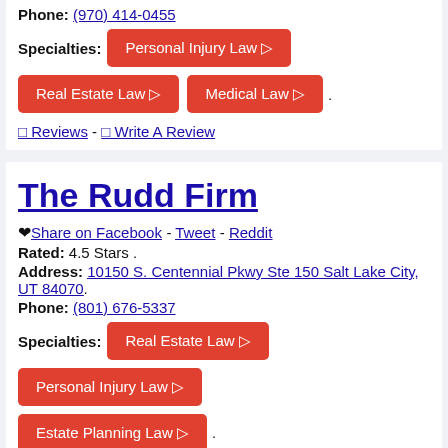Phone: (970) 414-0455
Specialties: Personal Injury Law | Real Estate Law | Medical Law .
0 Reviews - 0 Write A Review
The Rudd Firm
♥ Share on Facebook - Tweet - Reddit
Rated: 4.5 Stars .
Address: 10150 S. Centennial Pkwy Ste 150 Salt Lake City, UT 84070.
Phone: (801) 676-5337
Specialties: Real Estate Law | Personal Injury Law | Estate Planning Law .
0 Reviews - 0 Write A Review